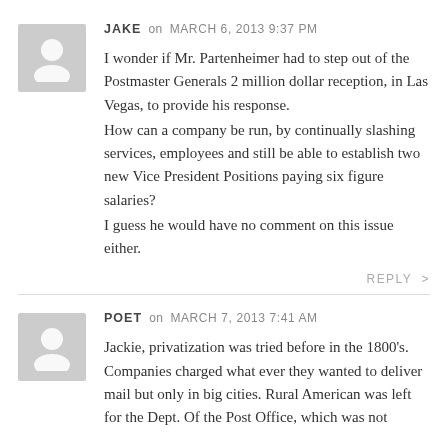[Figure (illustration): Generic user avatar silhouette on gray background]
JAKE on MARCH 6, 2013 9:37 PM
I wonder if Mr. Partenheimer had to step out of the Postmaster Generals 2 million dollar reception, in Las Vegas, to provide his response.
How can a company be run, by continually slashing services, employees and still be able to establish two new Vice President Positions paying six figure salaries?
I guess he would have no comment on this issue either.
REPLY >
[Figure (illustration): Generic user avatar silhouette on gray background]
POET on MARCH 7, 2013 7:41 AM
Jackie, privatization was tried before in the 1800's. Companies charged what ever they wanted to deliver mail but only in big cities. Rural American was left for the Dept. Of the Post Office, which was not